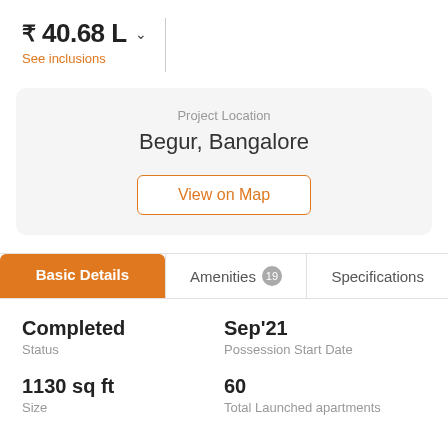₹ 40.68 L
See inclusions
Project Location
Begur, Bangalore
View on Map
Basic Details | Amenities 19 | Specifications
Completed
Status
Sep'21
Possession Start Date
1130 sq ft
Size
60
Total Launched apartments